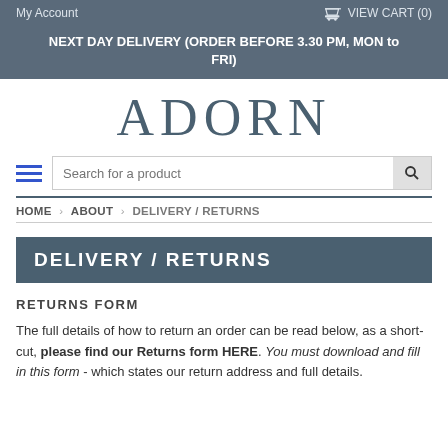My Account   VIEW CART (0)
NEXT DAY DELIVERY (ORDER BEFORE 3.30 PM, MON to FRI)
ADORN
Search for a product
HOME › ABOUT › DELIVERY / RETURNS
DELIVERY / RETURNS
RETURNS FORM
The full details of how to return an order can be read below, as a short-cut, please find our Returns form HERE. You must download and fill in this form - which states our return address and full details.